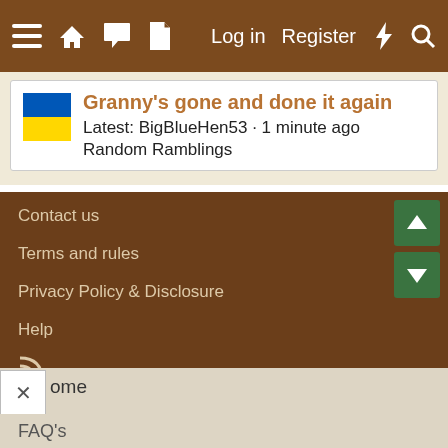≡ 🏠 💬 📄  Log in  Register  ⚡ 🔍
Granny's gone and done it again
Latest: BigBlueHen53 · 1 minute ago
Random Ramblings
Contact us
Terms and rules
Privacy Policy & Disclosure
Help
RSS icon
Home
FAQ's